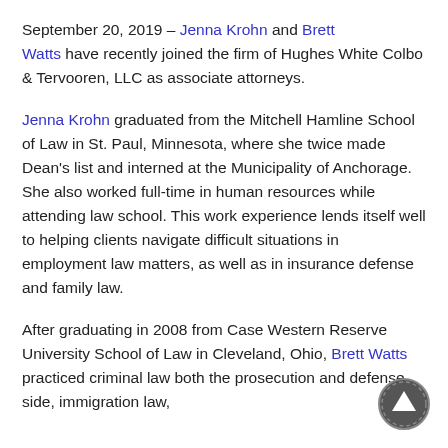September 20, 2019 – Jenna Krohn and Brett Watts have recently joined the firm of Hughes White Colbo & Tervooren, LLC as associate attorneys.
Jenna Krohn graduated from the Mitchell Hamline School of Law in St. Paul, Minnesota, where she twice made Dean's list and interned at the Municipality of Anchorage. She also worked full-time in human resources while attending law school. This work experience lends itself well to helping clients navigate difficult situations in employment law matters, as well as in insurance defense and family law.
After graduating in 2008 from Case Western Reserve University School of Law in Cleveland, Ohio, Brett Watts practiced criminal law both the prosecution and defense side, immigration law,